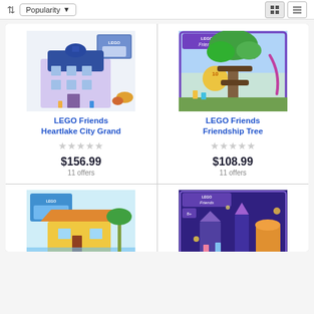Popularity (sort dropdown) | Grid and List view toggle
[Figure (screenshot): LEGO Friends Heartlake City Grand Hotel product image - colorful LEGO hotel set box]
LEGO Friends Heartlake City Grand
★ ★ ★ ★ ★ (no ratings)
$156.99
11 offers
[Figure (screenshot): LEGO Friends Friendship Tree product image - treehouse set box with 10th anniversary branding]
LEGO Friends Friendship Tree
★ ★ ★ ★ ★ (no ratings)
$108.99
11 offers
[Figure (screenshot): LEGO Friends beach/summer set product image - partially visible]
[Figure (screenshot): LEGO Friends magical/fantasy set product image - purple themed box, partially visible]